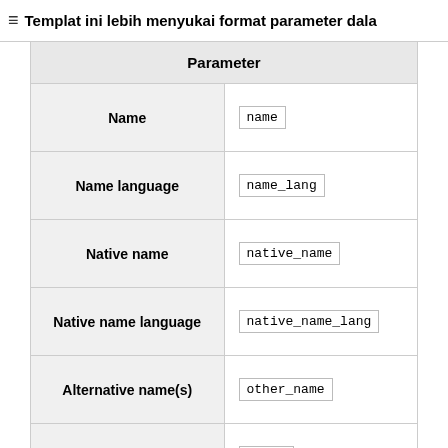Templat ini lebih menyukai format parameter dala
| Parameter |
| --- |
| Name | name |
| Name language | name_lang |
| Native name | native_name |
| Native name language | native_name_lang |
| Alternative name(s) | other_name |
| Style template | style |